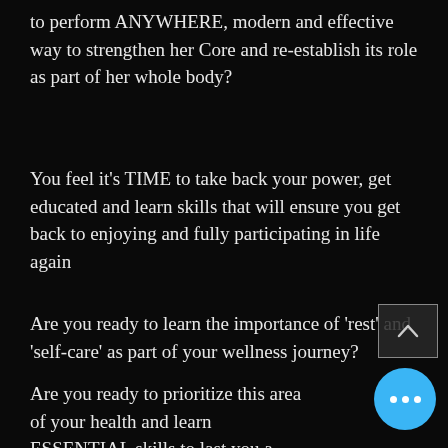to perform ANYWHERE, modern and effective way to strengthen her Core and re-establish its role as part of her whole body?
You feel it's TIME to take back your power, get educated and learn skills that will ensure you get back to enjoying and fully participating in life again
Are you ready to learn the importance of 'rest' and 'self-care' as part of your wellness journey?
Are you ready to prioritize this area of your health and learn ESSENTIAL skills to last you a lifetime?